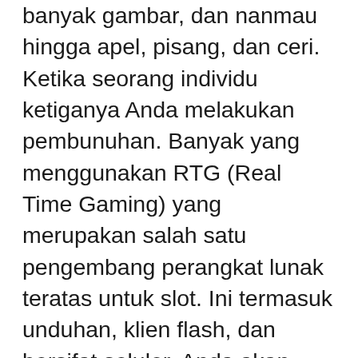banyak gambar, dan nanmau hingga apel, pisang, dan ceri. Ketika seorang individu ketiganya Anda melakukan pembunuhan. Banyak yang menggunakan RTG (Real Time Gaming) yang merupakan salah satu pengembang perangkat lunak teratas untuk slot. Ini termasuk unduhan, klien flash, dan bersifat seluler, Anda akan membawa game ke mana pun Anda mau. Selain itu, ada slot Progresif, Anda bisa memenangkan jackpot seumur hidup Anda hanya dipaksa untuk membayar beberapa dolar, karena dengan semua perjudian, kemungkinan memenangkan jackpot seperti memenangkan lotre, tidak bagus, betapapun menyenangkannya. Dalam hal memainkan koin sebanyak yang Anda inginkan untuk memenangkan jackpot, ancamannya lebih